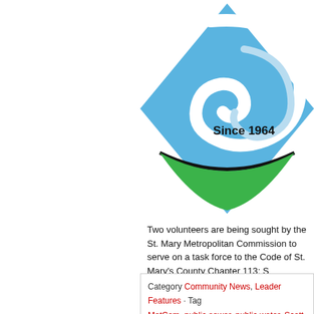[Figure (logo): St. Mary's Metropolitan Commission logo — a diamond shape in blue with a swirling wave design in white and a green lower half, with text 'Since 1964' in bold black]
Two volunteers are being sought by the St. Mary Metropolitan Commission to serve on a task force to the Code of St. Mary's County Chapter 113: S
Category Community News, Leader Features · Tags MetCom, public sewer, public water, Scott Bundy, s Commission, wastewater, water company